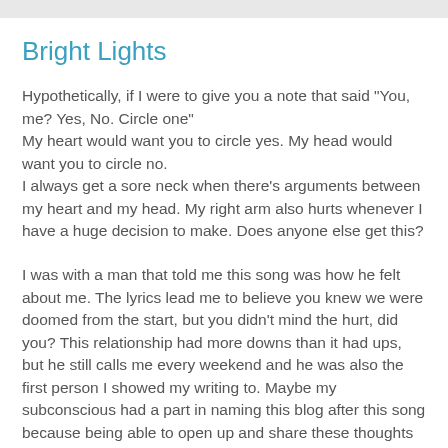Bright Lights
Hypothetically, if I were to give you a note that said "You, me? Yes, No. Circle one"
My heart would want you to circle yes. My head would want you to circle no.
I always get a sore neck when there's arguments between my heart and my head. My right arm also hurts whenever I have a huge decision to make. Does anyone else get this?
I was with a man that told me this song was how he felt about me. The lyrics lead me to believe you knew we were doomed from the start, but you didn't mind the hurt, did you? This relationship had more downs than it had ups, but he still calls me every weekend and he was also the first person I showed my writing to. Maybe my subconscious had a part in naming this blog after this song because being able to open up and share these thoughts has a lot to do with this person. Thank you.